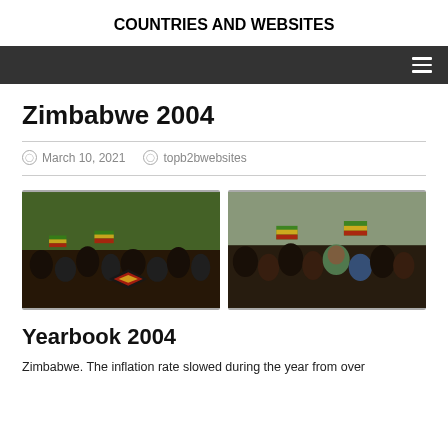COUNTRIES AND WEBSITES
Zimbabwe 2004
March 10, 2021   topb2bwebsites
[Figure (photo): Two photos side by side showing crowds of people waving Zimbabwean flags at a public gathering.]
Yearbook 2004
Zimbabwe. The inflation rate slowed during the year from over